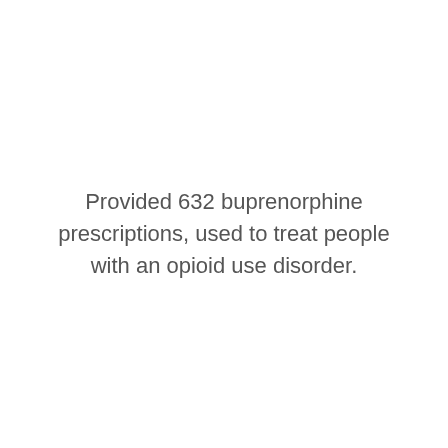Provided 632 buprenorphine prescriptions, used to treat people with an opioid use disorder.